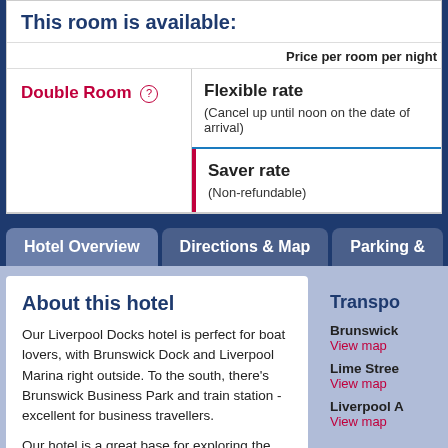This room is available:
Price per room per night
Double Room
Flexible rate
(Cancel up until noon on the date of arrival)
Saver rate
(Non-refundable)
Hotel Overview
Directions & Map
Parking &
About this hotel
Our Liverpool Docks hotel is perfect for boat lovers, with Brunswick Dock and Liverpool Marina right outside. To the south, there's Brunswick Business Park and train station - excellent for business travellers.
Our hotel is a great base for exploring the sights and sounds of Liverpool city centre - just 2 miles away. This includes the Beatles Story Museum and more.
Transpo
Brunswick
View map
Lime Street
View map
Liverpool A
View map